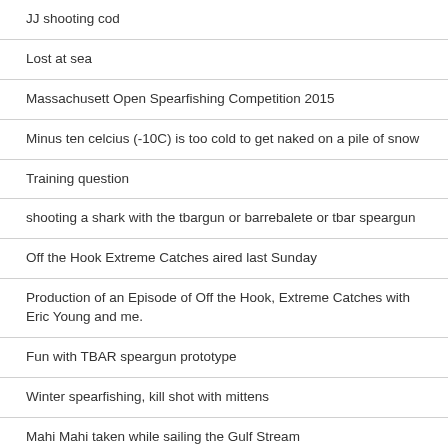JJ shooting cod
Lost at sea
Massachusett Open Spearfishing Competition 2015
Minus ten celcius (-10C) is too cold to get naked on a pile of snow
Training question
shooting a shark with the tbargun or barrebalete or tbar speargun
Off the Hook Extreme Catches aired last Sunday
Production of an Episode of Off the Hook, Extreme Catches with Eric Young and me.
Fun with TBAR speargun prototype
Winter spearfishing, kill shot with mittens
Mahi Mahi taken while sailing the Gulf Stream
Bimini, hawaiian sling spearfishing compilations.
Training for spearfishing.
Blackthorn with Shiver Shiver and ti...